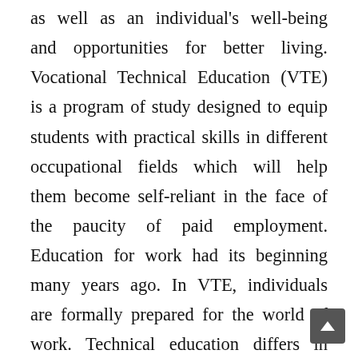as well as an individual's well-being and opportunities for better living. Vocational Technical Education (VTE) is a program of study designed to equip students with practical skills in different occupational fields which will help them become self-reliant in the face of the paucity of paid employment. Education for work had its beginning many years ago. In VTE, individuals are formally prepared for the world of work. Technical education differs in both concept and status in different nations of the world. In Nigeria, vocational